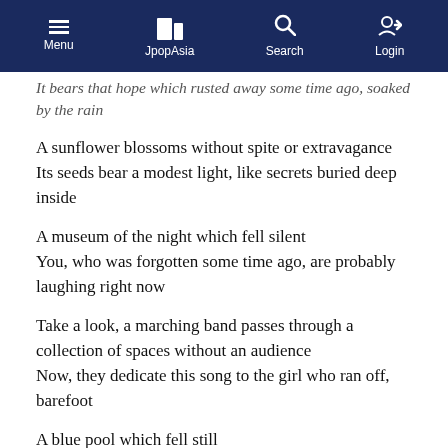Menu | JpopAsia | Search | Login
It bears that hope which rusted away some time ago, soaked by the rain
A sunflower blossoms without spite or extravagance
Its seeds bear a modest light, like secrets buried deep inside
A museum of the night which fell silent
You, who was forgotten some time ago, are probably laughing right now
Take a look, a marching band passes through a collection of spaces without an audience
Now, they dedicate this song to the girl who ran off, barefoot
A blue pool which fell still
She flies off into the sky reflected on it's pale surface
Open up
Your heart
What's there to feel guilty about?
Why is it so difficult for us?
Shine
With your words